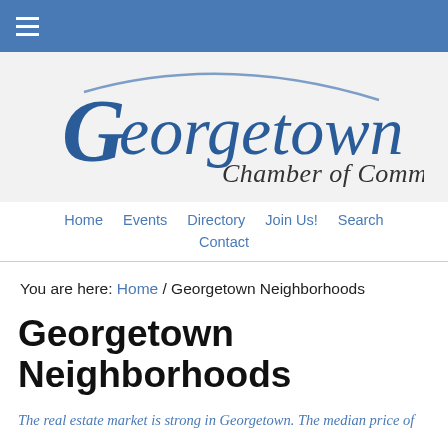≡ (navigation menu icon)
[Figure (logo): Georgetown Chamber of Commerce logo with stylized blue cursive text]
Home  Events  Directory  Join Us!  Search  Contact
You are here: Home / Georgetown Neighborhoods
Georgetown Neighborhoods
The real estate market is strong in Georgetown. The median price of